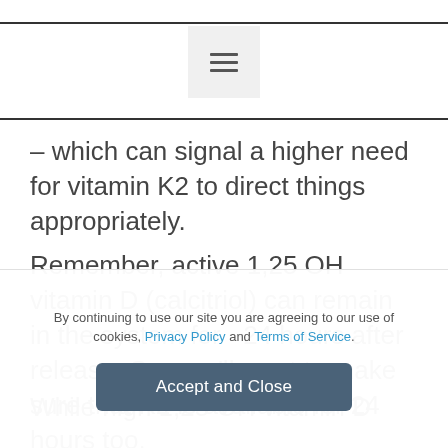≡
– which can signal a higher need for vitamin K2 to direct things appropriately.
Remember, active 1,25 OH vitamin D (calcitriol) can remain in the system for ~24 hours after release. So, you'll want to make sure that K2 is available for 24 hours too.
While high 1,25 OH vitamin D can...
By continuing to use our site you are agreeing to our use of cookies, Privacy Policy and Terms of Service.
Accept and Close